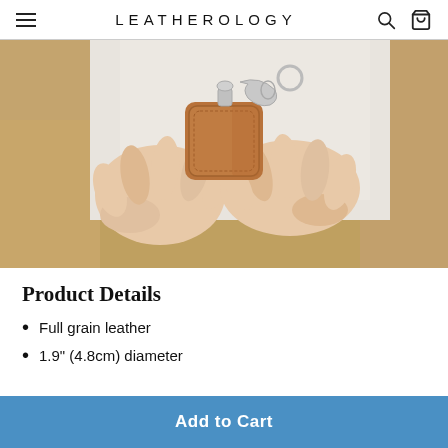LEATHEROLOGY
[Figure (photo): A hand holding a tan/brown leather keychain with a silver clasp and ring, photographed close up against a light background. The person is wearing khaki/tan trousers.]
Product Details
Full grain leather
1.9" (4.8cm) diameter
Add to Cart